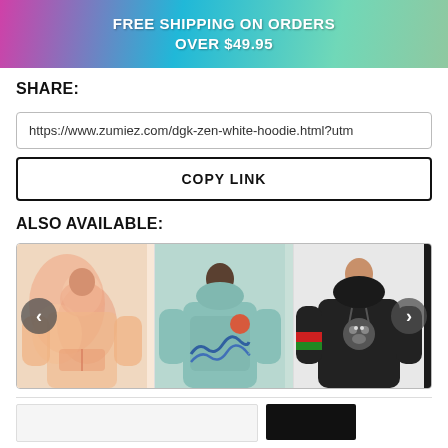FREE SHIPPING ON ORDERS OVER $49.95
SHARE:
https://www.zumiez.com/dgk-zen-white-hoodie.html?utm
COPY LINK
ALSO AVAILABLE:
[Figure (photo): Carousel of three hoodie products: a peach/orange tie-dye hoodie on left, a teal hoodie with wave graphic on back in center, and a black hoodie with red/green stripes and graphic on right. Left and right navigation arrows are visible.]